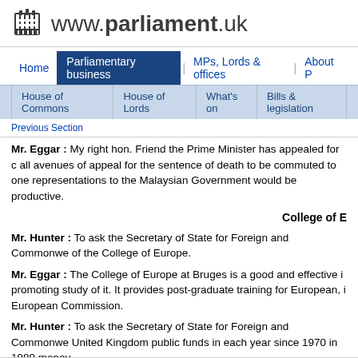www.parliament.uk
Home | Parliamentary business | MPs, Lords & offices | About P
House of Commons | House of Lords | What's on | Bills & legislation
Previous Section
Mr. Eggar : My right hon. Friend the Prime Minister has appealed for all avenues of appeal for the sentence of death to be commuted to one representations to the Malaysian Government would be productive.
College of E
Mr. Hunter : To ask the Secretary of State for Foreign and Commonwealth Affairs about the College of Europe.
Mr. Eggar : The College of Europe at Bruges is a good and effective institution promoting study of it. It provides post-graduate training for European, including the European Commission.
Mr. Hunter : To ask the Secretary of State for Foreign and Commonwealth Affairs the United Kingdom public funds in each year since 1970 in 1989 money.
Mr. Eggar : We have made an annual grant of £2,500 to the college si